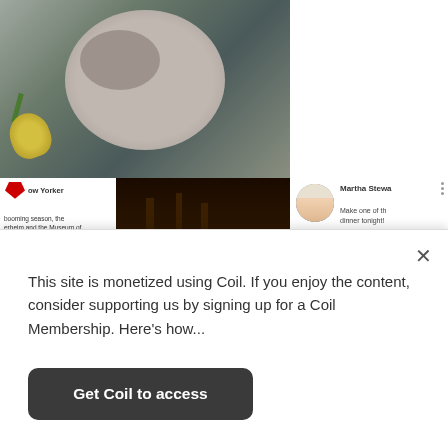[Figure (photo): Top food photo showing a dish on a plate with lemon and green garnish on a dark textured surface]
[Figure (screenshot): Grid of web content thumbnails: New Yorker article card, cake photo with video controls, Martha Stewart card, art review video card, and sausage/food article card]
Scroll to the list of recommended content at the bottom of the detail
This site is monetized using Coil. If you enjoy the content, consider supporting us by signing up for a Coil Membership. Here's how...
Get Coil to access